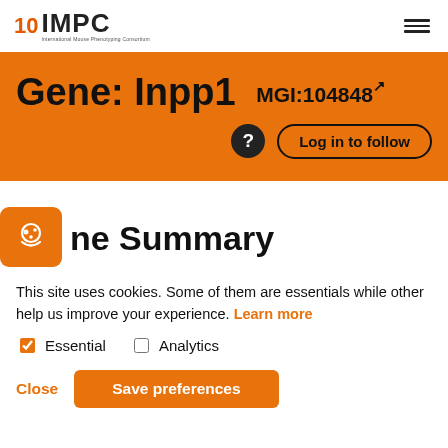IMPC - International Mouse Phenotyping Consortium
Gene: Inpp1 MGI:104848
Log in to follow
Gene Summary
This site uses cookies. Some of them are essentials while other help us improve your experience. Learn more
Essential  Analytics
Close  Save preferences